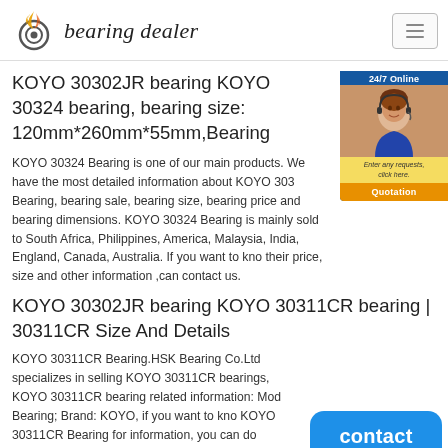bearing dealer
KOYO 30302JR bearing KOYO 30324 bearing, bearing size: 120mm*260mm*55mm,Bearing
KOYO 30324 Bearing is one of our main products. We have the most detailed information about KOYO 30324 Bearing, bearing sale, bearing size, bearing price and bearing dimensions. KOYO 30324 Bearing is mainly sold to South Africa, Philippines, America, Malaysia, India, England, Canada, Australia. If you want to know their price, size and other information ,can contact us.
KOYO 30302JR bearing KOYO 30311CR bearing | 30311CR Size And Details
KOYO 30311CR Bearing.HSK Bearing Co.Ltd specializes in selling KOYO 30311CR bearings, KOYO 30311CR bearing related information: Model Bearing; Brand: KOYO, if you want to know KOYO 30311CR Bearing for information, you can do
[Figure (photo): Live chat widget showing a female customer service agent with headset, 24/7 Online label, message prompt and Quotation button]
[Figure (other): Blue contact button at bottom right]